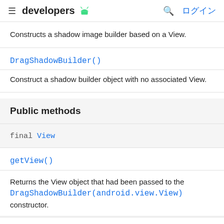developers [android logo] [search] ログイン
Constructs a shadow image builder based on a View.
DragShadowBuilder()
Construct a shadow builder object with no associated View.
Public methods
final View
getView()
Returns the View object that had been passed to the DragShadowBuilder(android.view.View) constructor.